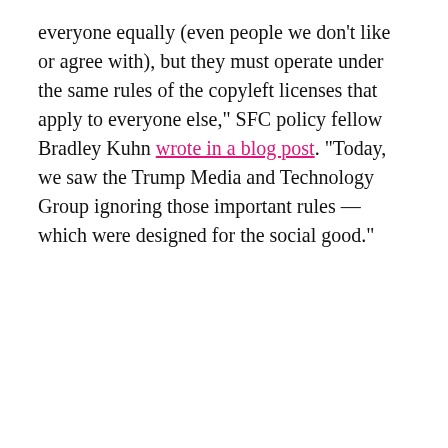everyone equally (even people we don't like or agree with), but they must operate under the same rules of the copyleft licenses that apply to everyone else," SFC policy fellow Bradley Kuhn wrote in a blog post. "Today, we saw the Trump Media and Technology Group ignoring those important rules — which were designed for the social good."